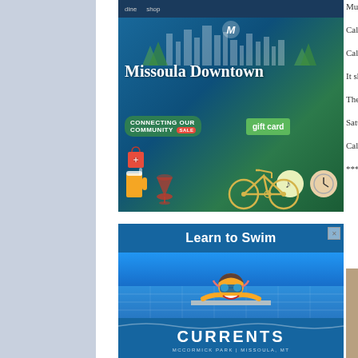[Figure (photo): Missoula Downtown gift card advertisement with skyline illustration, bicycle, beer mug, wine glass icons, and 'CONNECTING OUR COMMUNITY SALE' text on blue-green gradient background]
[Figure (photo): Learn to Swim CURRENTS advertisement with photo of smiling child with swim goggles in pool]
Mustangs played in Misso... a play-off win in 2005.
Cal Poly head coach Tim... were as head coach at P...
Cal Poly returns star qua... The Mustangs seemed to... the season.
It should come as no surp... as he shares a Septembe...
The Grizzlies have won th... Washington in 2013 was...
Saturday's game with Ca... Montana's 2015 schedule...
Cal Poly opens its season...
**********************
[Figure (photo): Photo of a bald man with glasses wearing a red shirt, sitting at a computer/keyboard]